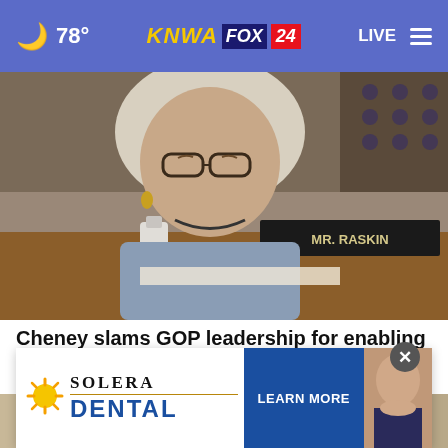78° KNWA FOX 24 LIVE
[Figure (photo): Close-up photo of a woman with blonde/white hair, glasses, a necklace, sitting in what appears to be a congressional hearing room. A nameplate and American flag are visible in the background.]
Cheney slams GOP leadership for enabling 'white nationalism' following Buffalo shooting
[Figure (photo): A photograph partially visible at the bottom of the page, cropped, showing a hand.]
[Figure (infographic): Advertisement overlay: Solera Dental — LEARN MORE button, with logo and person image.]